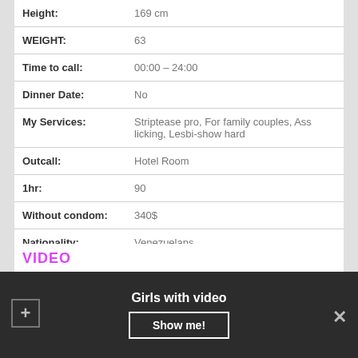| Field | Value |
| --- | --- |
| Height: | 169 cm |
| WEIGHT: | 63 |
| Time to call: | 00:00 – 24:00 |
| Dinner Date: | No |
| My Services: | Striptease pro, For family couples, Ass licking, Lesbi-show hard |
| Outcall: | Hotel Room |
| 1hr: | 90 |
| Without condom: | 340$ |
| Nationality: | Venezuelans |
VIDEO
Girls with video
Show me!